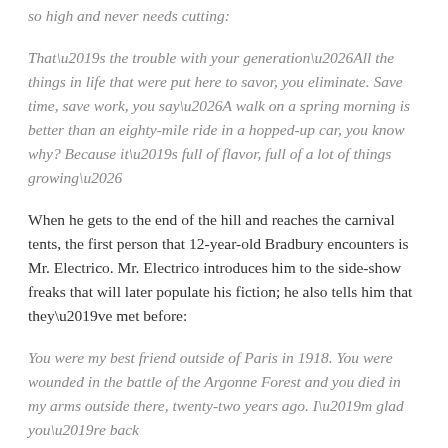so high and never needs cutting:
That’s the trouble with your generation…All the things in life that were put here to savor, you eliminate. Save time, save work, you say…A walk on a spring morning is better than an eighty-mile ride in a hopped-up car, you know why? Because it’s full of flavor, full of a lot of things growing…
When he gets to the end of the hill and reaches the carnival tents, the first person that 12-year-old Bradbury encounters is Mr. Electrico. Mr. Electrico introduces him to the side-show freaks that will later populate his fiction; he also tells him that they’ve met before:
You were my best friend outside of Paris in 1918. You were wounded in the battle of the Argonne Forest and you died in my arms outside there, twenty-two years ago. I’m glad you’re back